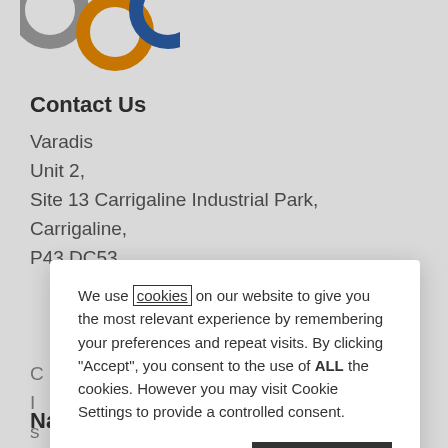[Figure (logo): Three overlapping circles logo: grey, orange, and blue]
Contact Us
Varadis
Unit 2,
Site 13 Carrigaline Industrial Park,
Carrigaline,
P43 DC53,
We use cookies on our website to give you the most relevant experience by remembering your preferences and repeat visits. By clicking “Accept”, you consent to the use of ALL the cookies. However you may visit Cookie Settings to provide a controlled consent.
Cookie settings
ACCEPT
Navigation